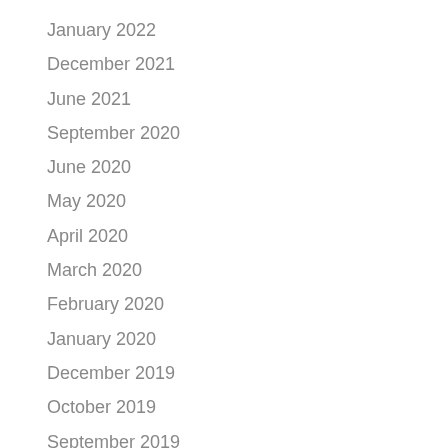January 2022
December 2021
June 2021
September 2020
June 2020
May 2020
April 2020
March 2020
February 2020
January 2020
December 2019
October 2019
September 2019
August 2019